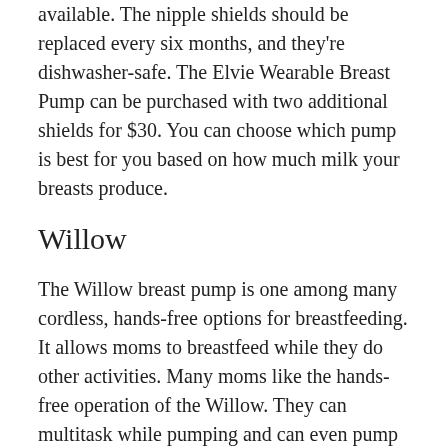available. The nipple shields should be replaced every six months, and they're dishwasher-safe. The Elvie Wearable Breast Pump can be purchased with two additional shields for $30. You can choose which pump is best for you based on how much milk your breasts produce.
Willow
The Willow breast pump is one among many cordless, hands-free options for breastfeeding. It allows moms to breastfeed while they do other activities. Many moms like the hands-free operation of the Willow. They can multitask while pumping and can even pump while doing other tasks at home, which is helpful for parents who work outside the home. The Willow has been reported to increase milk production by